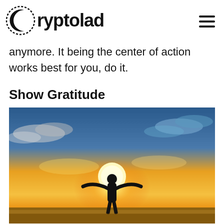Cryptolad
anymore. It being the center of action works best for you, do it.
Show Gratitude
[Figure (photo): Silhouette of a person with arms outstretched against a dramatic golden sunset sky with clouds]